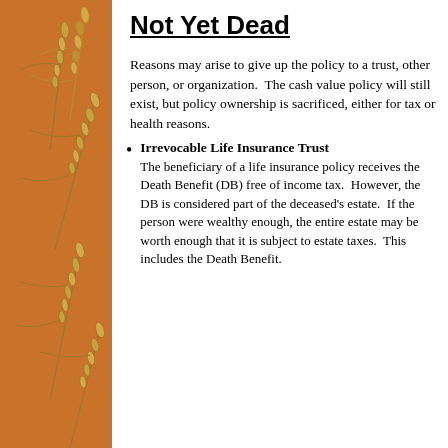[Figure (illustration): Orange sidebar with decorative wheat stalks illustration on the left side of the page]
Not Yet Dead
Reasons may arise to give up the policy to a trust, other person, or organization.  The cash value policy will still exist, but policy ownership is sacrificed, either for tax or health reasons.
Irrevocable Life Insurance Trust
The beneficiary of a life insurance policy receives the Death Benefit (DB) free of income tax.  However, the DB is considered part of the deceased's estate.  If the person were wealthy enough, the entire estate may be worth enough that it is subject to estate taxes.  This includes the Death Benefit.